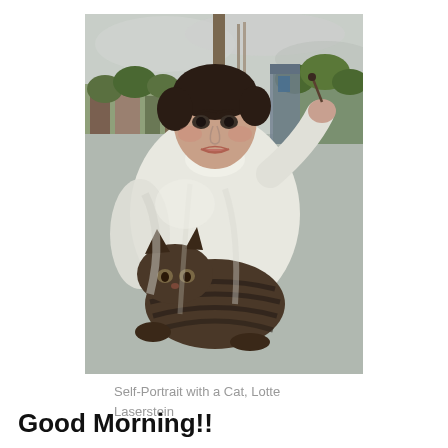[Figure (illustration): A painting titled 'Self-Portrait with a Cat' by Lotte Laserstein. A young person in a white smock holds a large tabby cat in their lap while holding a paintbrush aloft in the other hand. A cityscape is visible in the background through a window or balcony.]
Self-Portrait with a Cat, Lotte Laserstein
Good Morning!!